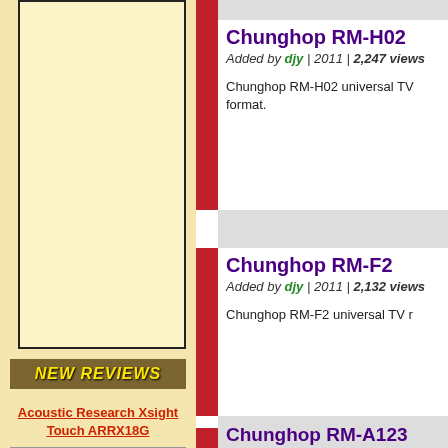[Figure (other): Advertisement banner in left column (light yellow box)]
NEW REVIEWS
Acoustic Research Xsight Touch ARRX18G
Sony PlayStation 3 Advanced Control Roundup
Pinnacle PCTV HD Pro Stick HDTV Tuner
Chunghop RM-H02
Added by djy | 2011 | 2,247 views
Chunghop RM-H02 universal TV format.
Chunghop RM-F2
Added by djy | 2011 | 2,132 views
Chunghop RM-F2 universal TV r
Chunghop RM-A123